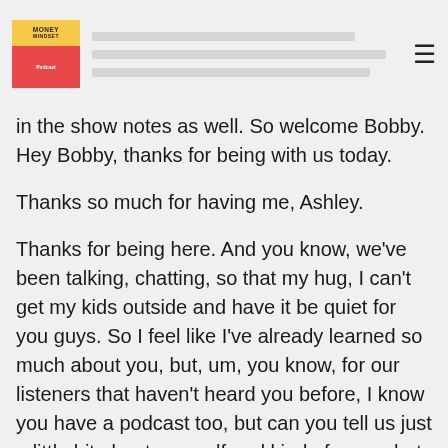Money Mindset podcast — navigation header
in the show notes as well. So welcome Bobby. Hey Bobby, thanks for being with us today.
Thanks so much for having me, Ashley.
Thanks for being here. And you know, we've been talking, chatting, so that my hug, I can't get my kids outside and have it be quiet for you guys. So I feel like I've already learned so much about you, but, um, you know, for our listeners that haven't heard you before, I know you have a podcast too, but can you tell us just a little bit about yourself and kind of, um, what you do to help people right now?
Sure. Well, my name is Bobby Olson and I'm the host of the sensible chat podcast and I'm also a budget coach. And so, um, I'm really focused on helping people with their money obviously, um, for the podcast that we definitely say that we're committed